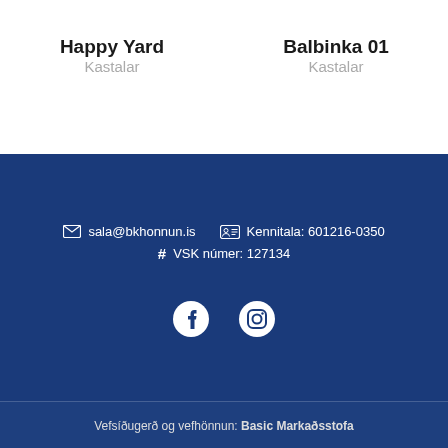Happy Yard
Kastalar
Balbinka 01
Kastalar
sala@bkhonnun.is   Kennitala: 601216-0350
# VSK númer: 127134
[Figure (other): Facebook and Instagram social media icons]
Vefsíðugerð og vefhönnun: Basic Markaðsstofa